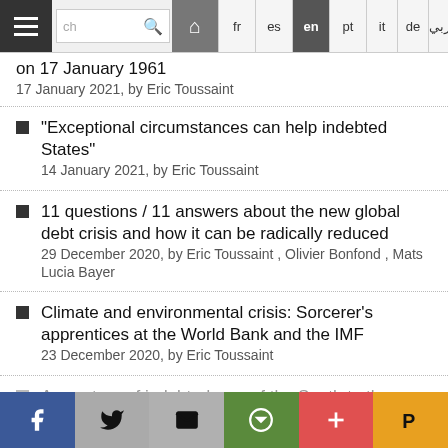Navigation bar with hamburger menu, search box, home button, and language tabs: fr, es, en (active), pt, it, de, arabic
on 17 January 1961
17 January 2021, by Eric Toussaint
“Exceptional circumstances can help indebted States”
14 January 2021, by Eric Toussaint
11 questions / 11 answers about the new global debt crisis and how it can be radically reduced
29 December 2020, by Eric Toussaint , Olivier Bonfond , Mats Lucia Bayer
Climate and environmental crisis: Sorcerer’s apprentices at the World Bank and the IMF
23 December 2020, by Eric Toussaint
A new trap of indebtedness of the South to the North - Part 3
Share bar: Facebook, Twitter, Email, Print, Plus, Pocket